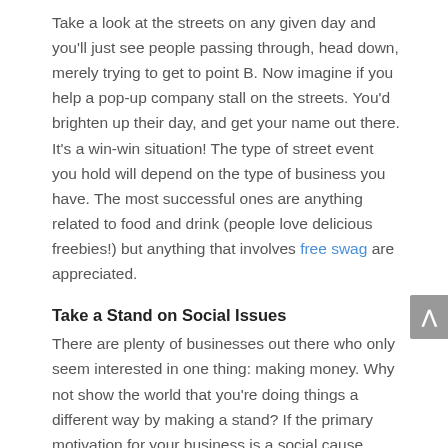Take a look at the streets on any given day and you'll just see people passing through, head down, merely trying to get to point B. Now imagine if you help a pop-up company stall on the streets. You'd brighten up their day, and get your name out there. It's a win-win situation! The type of street event you hold will depend on the type of business you have. The most successful ones are anything related to food and drink (people love delicious freebies!) but anything that involves free swag are appreciated.
Take a Stand on Social Issues
There are plenty of businesses out there who only seem interested in one thing: making money. Why not show the world that you're doing things a different way by making a stand? If the primary motivation for your business is a social cause, then people will pay attention. Indeed, studies have shown that people are much more likely to give a company their money if they show that they have a